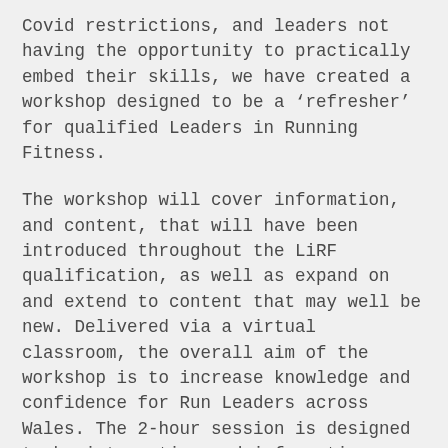Covid restrictions, and leaders not having the opportunity to practically embed their skills, we have created a workshop designed to be a 'refresher' for qualified Leaders in Running Fitness.
The workshop will cover information, and content, that will have been introduced throughout the LiRF qualification, as well as expand on and extend to content that may well be new. Delivered via a virtual classroom, the overall aim of the workshop is to increase knowledge and confidence for Run Leaders across Wales. The 2-hour session is designed to be interactive and informative, giving participants an opportunity to reconnect with best-practice ideas for delivering effective running sessions. This workshop is also suitable for inactive/unlicensed leaders who want to get back to delivering sessions for a club or group near them.
Topics covered and reviewed include;